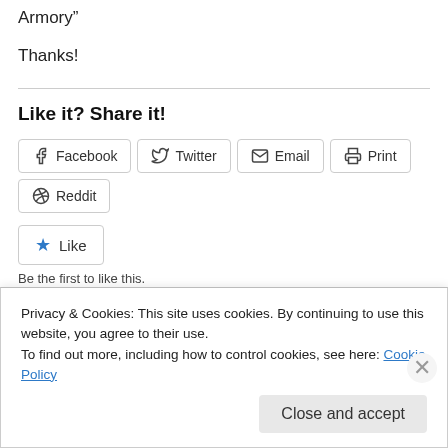Armory”
Thanks!
Like it? Share it!
Facebook  Twitter  Email  Print  Reddit
Like
Be the first to like this.
April 19, 2013
Leave a Reply
Privacy & Cookies: This site uses cookies. By continuing to use this website, you agree to their use.
To find out more, including how to control cookies, see here: Cookie Policy
Close and accept